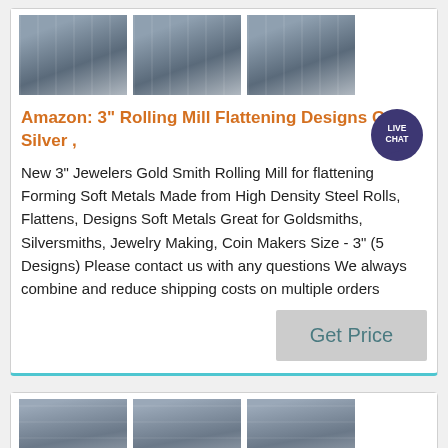[Figure (photo): Three side-by-side industrial machine images (rolling mill equipment) in the top card]
Amazon: 3" Rolling Mill Flattening Designs Gold Silver ,
New 3" Jewelers Gold Smith Rolling Mill for flattening Forming Soft Metals Made from High Density Steel Rolls, Flattens, Designs Soft Metals Great for Goldsmiths, Silversmiths, Jewelry Making, Coin Makers Size - 3" (5 Designs) Please contact us with any questions We always combine and reduce shipping costs on multiple orders
[Figure (photo): Three side-by-side industrial machine images in the bottom card (partially visible)]